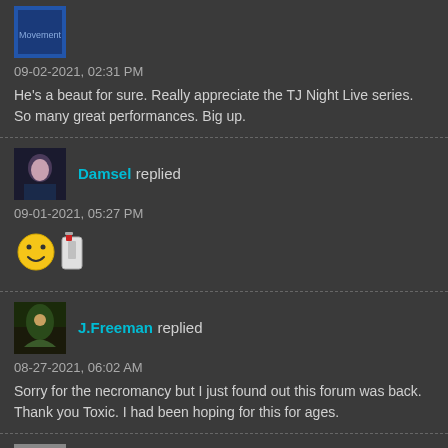09-02-2021, 02:31 PM
He’s a beaut for sure. Really appreciate the TJ Night Live series. So many great performances. Big up.
Damsel replied
09-01-2021, 05:27 PM
[Figure (other): Smiley face emoji and lighter emoji]
J.Freeman replied
08-27-2021, 06:02 AM
Sorry for the necromancy but I just found out this forum was back. Thank you Toxic. I had been hoping for this for ages.
codename joshua replied
01-27-2021, 01:27 PM